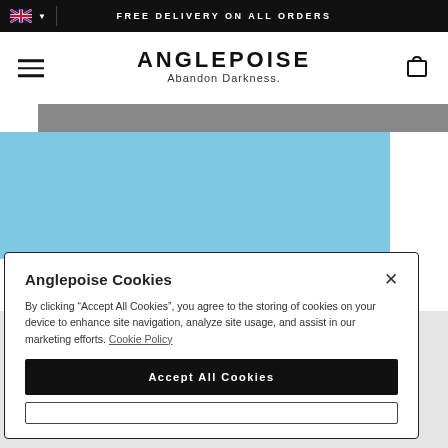FREE DELIVERY ON ALL ORDERS
ANGLEPOISE
Abandon Darkness.
[Figure (screenshot): Partial hero image showing a gray strip at top and a light blue rectangular block below, representing product/brand imagery on the Anglepoise website.]
Anglepoise Cookies
By clicking “Accept All Cookies”, you agree to the storing of cookies on your device to enhance site navigation, analyze site usage, and assist in our marketing efforts. Cookie Policy
Accept All Cookies